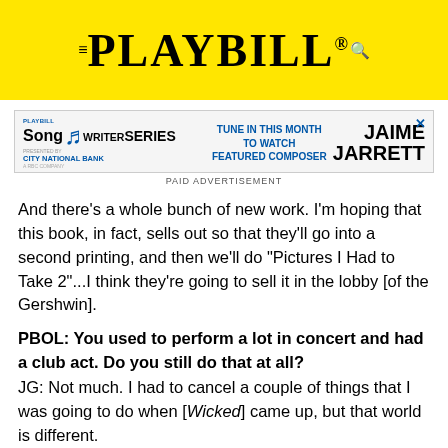PLAYBILL
[Figure (infographic): Playbill Songwriter Series advertisement featuring Jaime Jarrett as featured composer, presented by City National Bank.]
PAID ADVERTISEMENT
And there's a whole bunch of new work. I'm hoping that this book, in fact, sells out so that they'll go into a second printing, and then we'll do "Pictures I Had to Take 2"...I think they're going to sell it in the lobby [of the Gershwin].
PBOL: You used to perform a lot in concert and had a club act. Do you still do that at all?
JG: Not much. I had to cancel a couple of things that I was going to do when [Wicked] came up, but that world is different.
PBOL: Do you prefer being in a show?
JG: I love being in a show. I love the community aspect of